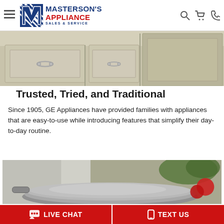Masterson's Appliance Sales & Service — navigation bar with logo, search, cart, phone icons
[Figure (photo): Kitchen cabinet drawers with chrome handles, cream/beige finish, partial view showing multiple drawer fronts]
Trusted, Tried, and Traditional
Since 1905, GE Appliances have provided families with appliances that are easy-to-use while introducing features that simplify their day-to-day routine.
[Figure (photo): Close-up of a stainless steel cooking pot/pan on a kitchen surface with tomatoes and herbs visible in the background]
LIVE CHAT | TEXT US